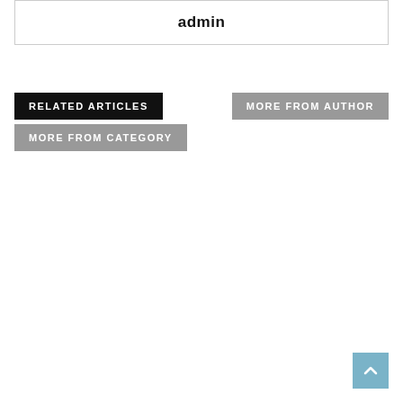admin
RELATED ARTICLES
MORE FROM AUTHOR
MORE FROM CATEGORY